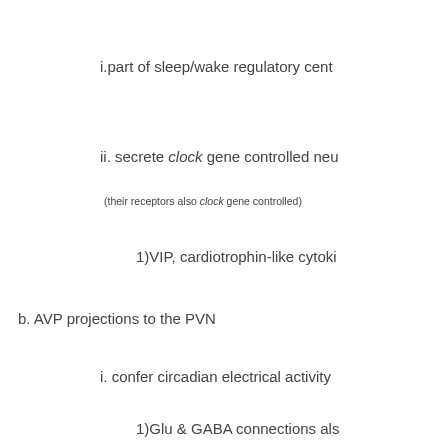i.part of sleep/wake regulatory cent
ii. secrete clock gene controlled neu
(their receptors also clock gene controlled)
1)VIP, cardiotrophin-like cytoki
b. AVP projections to the PVN
i. confer circadian electrical activity
1)Glu & GABA connections als
ii. PVN regulates Neuroendocrine a
1) also T°b, behavioral state, and P
c. two paths to the Habenula and Pineal
i. vai Hypothalamus/Habenula & Pi